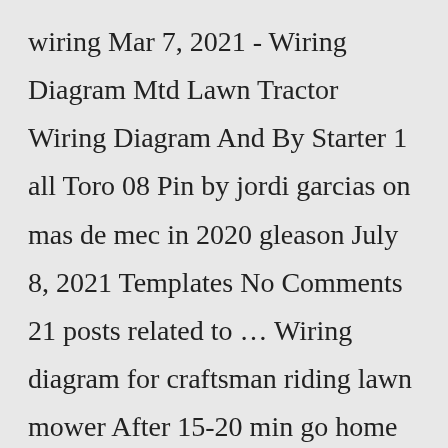wiring Mar 7, 2021 - Wiring Diagram Mtd Lawn Tractor Wiring Diagram And By Starter 1 all Toro 08 Pin by jordi garcias on mas de mec in 2020 gleason July 8, 2021 Templates No Comments 21 posts related to … Wiring diagram for craftsman riding lawn mower After 15-20 min go home and cool down Riding lawn mower ignition switch Wiring diagram briggs hp engine stratton mower lawn twin craftsman ignition holder riding switch cares clement